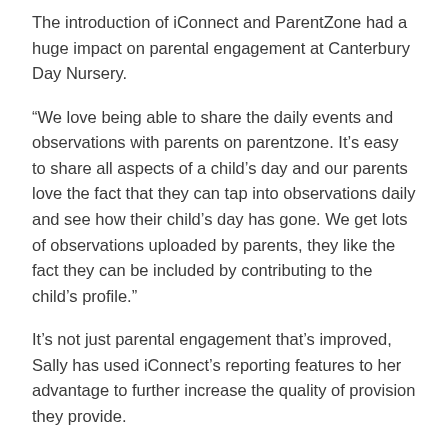The introduction of iConnect and ParentZone had a huge impact on parental engagement at Canterbury Day Nursery.
“We love being able to share the daily events and observations with parents on parentzone. It’s easy to share all aspects of a child’s day and our parents love the fact that they can tap into observations daily and see how their child’s day has gone. We get lots of observations uploaded by parents, they like the fact they can be included by contributing to the child’s profile.”
It’s not just parental engagement that’s improved, Sally has used iConnect’s reporting features to her advantage to further increase the quality of provision they provide.